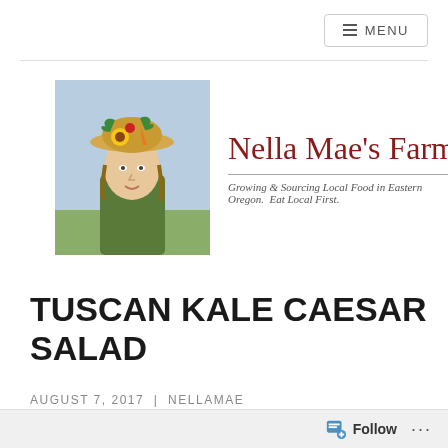≡ MENU
[Figure (logo): Nella Mae's Farm logo: portrait of a woman wearing a hat decorated with vegetables and fruits, alongside the farm name and tagline 'Growing & Sourcing Local Food in Eastern Oregon. Eat Local First.']
TUSCAN KALE CAESAR SALAD
AUGUST 7, 2017 | NELLAMAE
Follow ...